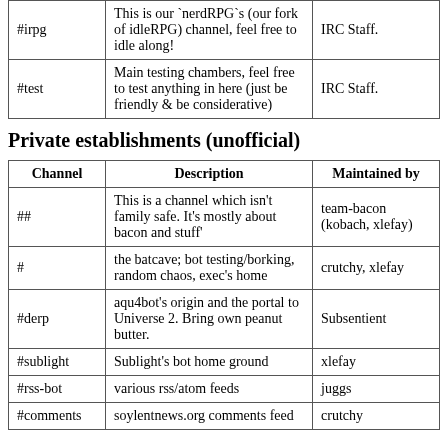| Channel | Description | Maintained by |
| --- | --- | --- |
| #irpg | This is our `nerdRPG`s (our fork of idleRPG) channel, feel free to idle along! | IRC Staff. |
| #test | Main testing chambers, feel free to test anything in here (just be friendly & be considerative) | IRC Staff. |
Private establishments (unofficial)
| Channel | Description | Maintained by |
| --- | --- | --- |
| ## | This is a channel which isn't family safe. It's mostly about bacon and stuff' | team-bacon (kobach, xlefay) |
| # | the batcave; bot testing/borking, random chaos, exec's home | crutchy, xlefay |
| #derp | aqu4bot's origin and the portal to Universe 2. Bring own peanut butter. | Subsentient |
| #sublight | Sublight's bot home ground | xlefay |
| #rss-bot | various rss/atom feeds | juggs |
| #comments | soylentnews.org comments feed | crutchy |